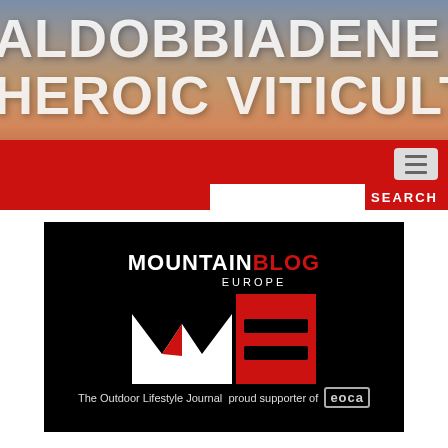VALDOBBIADENE DOCG HEROIC VITICULTURE
[Figure (logo): MountainBlog Europe logo on black background with red and white M and B lettermark. Tagline: The Outdoor Lifestyle Journal and supporter of EOCA]
The Outdoor Lifestyle Journal and supporter of EOCA